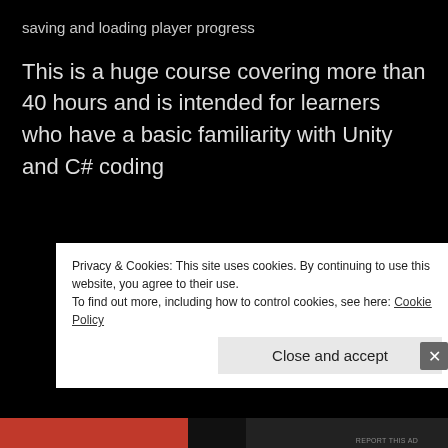saving and loading player progress
This is a huge course covering more than 40 hours and is intended for learners who have a basic familiarity with Unity and C# coding
[Figure (screenshot): Advertisement banner showing partial text 'course with WordPress' with a circular logo on dark background, with 'REPORT THIS AD' label]
Privacy & Cookies: This site uses cookies. By continuing to use this website, you agree to their use.
To find out more, including how to control cookies, see here: Cookie Policy
Close and accept